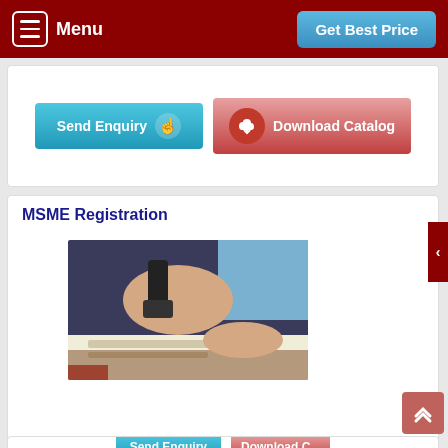Menu | Get Best Price
[Figure (screenshot): Top card with Send Enquiry and Download Catalog buttons]
MSME Registration
[Figure (photo): Person in dark suit pressing a rubber stamp on documents on a desk]
[Figure (screenshot): Partially visible bottom card with Send Enquiry and Download Catalog buttons]